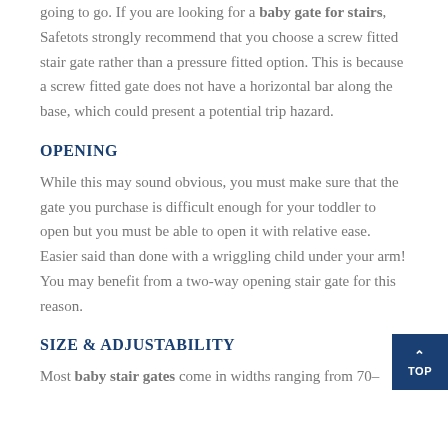going to go. If you are looking for a baby gate for stairs, Safetots strongly recommend that you choose a screw fitted stair gate rather than a pressure fitted option. This is because a screw fitted gate does not have a horizontal bar along the base, which could present a potential trip hazard.
OPENING
While this may sound obvious, you must make sure that the gate you purchase is difficult enough for your toddler to open but you must be able to open it with relative ease. Easier said than done with a wriggling child under your arm! You may benefit from a two-way opening stair gate for this reason.
SIZE & ADJUSTABILITY
Most baby stair gates come in widths ranging from 70–95cm without the need for extension pieces for a...